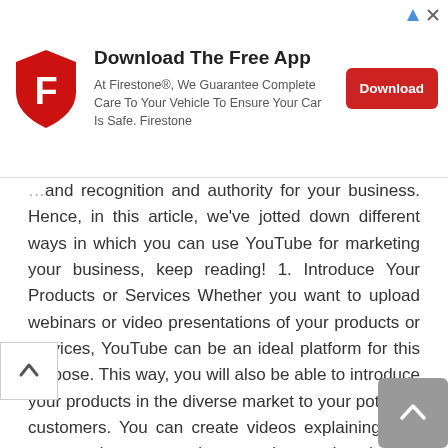[Figure (infographic): Firestone advertisement banner with logo, text, and download button. Title: Download The Free App. Body: At Firestone®, We Guarantee Complete Care To Your Vehicle To Ensure Your Car Is Safe. Firestone. Red Download button on right.]
...and recognition and authority for your business. Hence, in this article, we've jotted down different ways in which you can use YouTube for marketing your business, keep reading! 1. Introduce Your Products or Services Whether you want to upload webinars or video presentations of your products or services, YouTube can be an ideal platform for this purpose. This way, you will also be able to introduce your products in the diverse market to your potential customers. You can create videos explaining how your products or services can be used and other informational content. 2. Share Your Industry Knowledge Now you don't have to simply talk about your products or services all the time. It will make you sound too salesy and may work against you. If you want to reach a large audience who can convert...